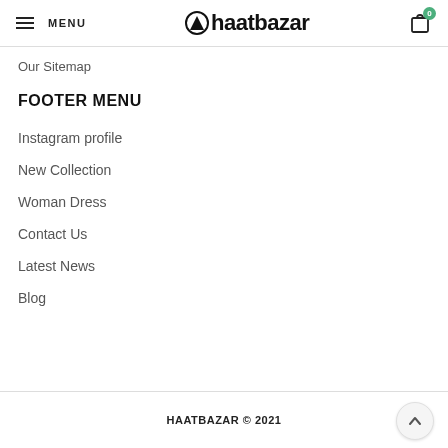MENU | haatbazar | 0
Our Sitemap
FOOTER MENU
Instagram profile
New Collection
Woman Dress
Contact Us
Latest News
Blog
HAATBAZAR © 2021